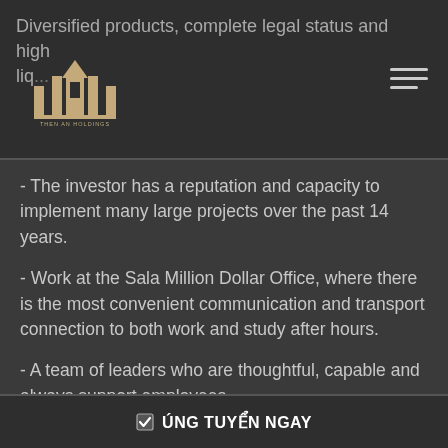Diversified products, complete legal status and high liq...
[Figure (logo): Then An Holdings logo - building/tower icon with text THEN AN HOLDINGS below]
- The investor has a reputation and capacity to implement many large projects over the past 14 years.
- Work at the Sala Million Dollar Office, where there is the most convenient communication and transport connection to both work and study after hours.
- A team of leaders who are thoughtful, capable and always support employees.
- A professional, methodical working environment
✔ ÚNG TUYỂN NGAY